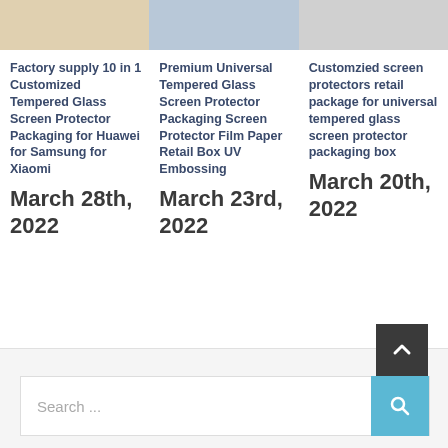[Figure (photo): Three product images of tempered glass screen protector packaging]
Factory supply 10 in 1 Customized Tempered Glass Screen Protector Packaging for Huawei for Samsung for Xiaomi
March 28th, 2022
Premium Universal Tempered Glass Screen Protector Packaging Screen Protector Film Paper Retail Box UV Embossing
March 23rd, 2022
Customzied screen protectors retail package for universal tempered glass screen protector packaging box
March 20th, 2022
Search ...